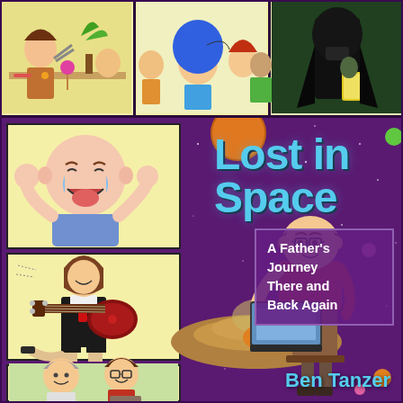[Figure (illustration): Book cover for 'Lost in Space: A Father's Journey There and Back Again' by Ben Tanzer. Purple space background with comic-style panel illustrations showing various characters including a crying baby, a female guitarist, two men posing together, and top strip with multiple comic characters. A man at a laptop with a UFO sits in the center-right area. Various colorful planets and dots decorate the background.]
Lost in Space
A Father's Journey There and Back Again
Ben Tanzer